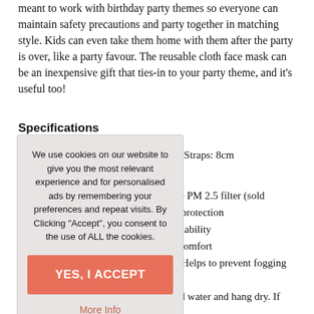meant to work with birthday party themes so everyone can maintain safety precautions and party together in matching style. Kids can even take them home with them after the party is over, like a party favour. The reusable cloth face mask can be an inexpensive gift that ties-in to your party theme, and it's useful too!
Specifications
Ear Straps: 8cm
able PM 2.5 filter (sold
ior protection
eathability
ze comfort
fit. Helps to prevent fogging
sses
cold water and hang dry. If
We use cookies on our website to give you the most relevant experience and for personalised ads by remembering your preferences and repeat visits. By Clicking "Accept", you consent to the use of ALL the cookies.